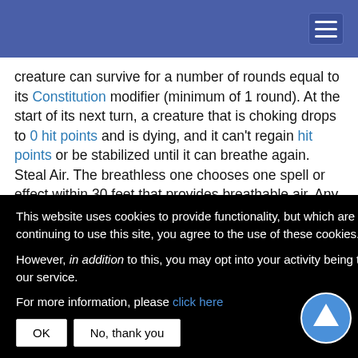creature can survive for a number of rounds equal to its Constitution modifier (minimum of 1 round). At the start of its next turn, a creature that is choking drops to 0 hit points and is dying, and it can't regain hit points or be stabilized until it can breathe again. Steal Air. The breathless one chooses one spell or effect within 30 feet that provides breathable air. Any spell of 3rd level or lower on the target ends. [obscured] on the target or [obscured] kes a Charisma [obscured] ll's level, or DC [obscured] spell level. On a [obscured] t ends. [obscured] eathless one [obscured] f it that has di[obscured] [obscured]ck. The targe[obscured] [obscured]f its corpse or in the nearest unoccupied space. The wightsrd is
This website uses cookies to provide functionality, but which are not used to track your activity. By continuing to use this site, you agree to the use of these cookies.

However, in addition to this, you may opt into your activity being tracked in order to help us improve our service.

For more information, please click here
OK
No, thank you